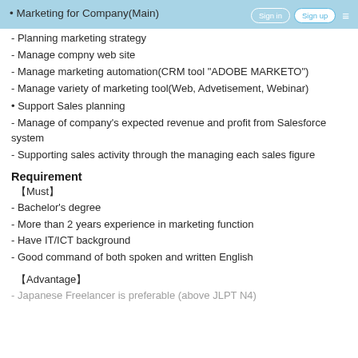• Marketing for Company(Main)
- Planning marketing strategy
- Manage compny web site
- Manage marketing automation(CRM tool "ADOBE MARKETO")
- Manage variety of marketing tool(Web, Advetisement, Webinar)
• Support Sales planning
- Manage of company's expected revenue and profit from Salesforce system
- Supporting sales activity through the managing each sales figure
Requirement
【Must】
- Bachelor's degree
- More than 2 years experience in marketing function
- Have IT/ICT background
- Good command of both spoken and written English
【Advantage】
- Japanese Freelancer is preferable (above JLPT N4)